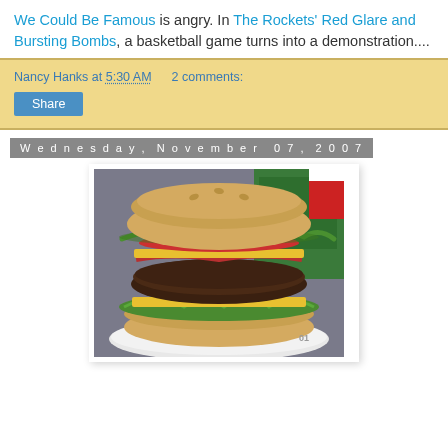We Could Be Famous is angry. In The Rockets' Red Glare and Bursting Bombs, a basketball game turns into a demonstration....
Nancy Hanks at 5:30 AM   2 comments:
Share
Wednesday, November 07, 2007
[Figure (photo): Close-up photo of a large gourmet burger with cheese, bacon, tomato, lettuce and greens on a bun, served on a white plate. A green sign is visible in the background.]